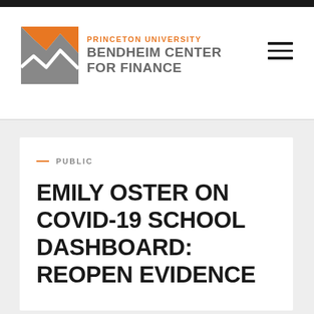[Figure (logo): Princeton University Bendheim Center for Finance logo with orange and gray chevron/mountain graphic mark]
PRINCETON UNIVERSITY
BENDHEIM CENTER
FOR FINANCE
— PUBLIC
EMILY OSTER ON COVID-19 SCHOOL DASHBOARD: REOPEN EVIDENCE